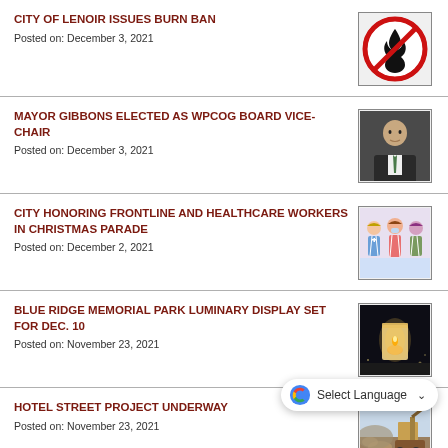CITY OF LENOIR ISSUES BURN BAN
Posted on: December 3, 2021
MAYOR GIBBONS ELECTED AS WPCOG BOARD VICE-CHAIR
Posted on: December 3, 2021
CITY HONORING FRONTLINE AND HEALTHCARE WORKERS IN CHRISTMAS PARADE
Posted on: December 2, 2021
BLUE RIDGE MEMORIAL PARK LUMINARY DISPLAY SET FOR DEC. 10
Posted on: November 23, 2021
HOTEL STREET PROJECT UNDERWAY
Posted on: November 23, 2021
CITY FACILITIES CLOSED FOR THANKSGIVING